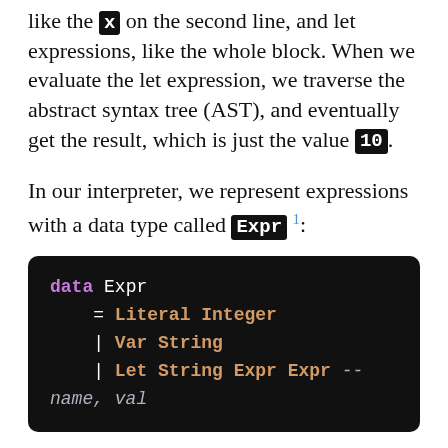like the x on the second line, and let expressions, like the whole block. When we evaluate the let expression, we traverse the abstract syntax tree (AST), and eventually get the result, which is just the value 10.
In our interpreter, we represent expressions with a data type called Expr 1:
[Figure (other): Code block showing a Haskell data type definition: data Expr = Literal Integer | Var String | Let String Expr Expr -- name, val]
An expression is either a literal integer, a variable which holds an string name, or a let